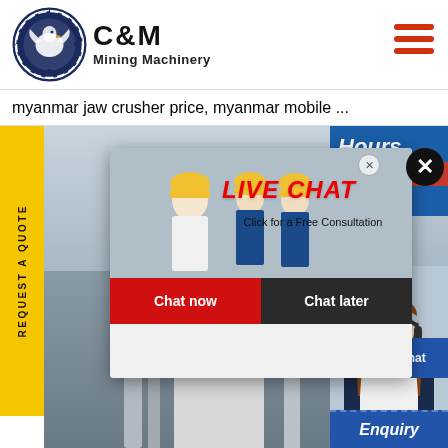[Figure (logo): C&M Mining Machinery logo with eagle/gear icon in dark blue circle]
myanmar jaw crusher price, myanmar mobile ...
[Figure (screenshot): Website screenshot showing industrial equipment/machinery background photo with workers in yellow hard hats]
[Figure (infographic): Live chat popup overlay with workers photo, LIVE CHAT heading, 'Click for a Free Consultation', Chat now and Chat later buttons]
REQUEST A QUOTE
Hours
line
Click to Chat
Enquiry